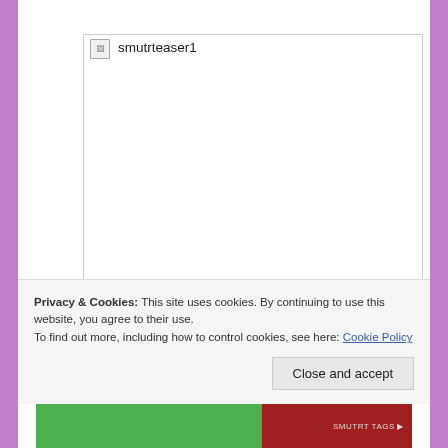[Figure (other): A broken image placeholder box with the alt text 'smutrteaser1' displayed next to a broken image icon in the top-left corner of the box.]
Privacy & Cookies: This site uses cookies. By continuing to use this website, you agree to their use.
To find out more, including how to control cookies, see here: Cookie Policy
Close and accept